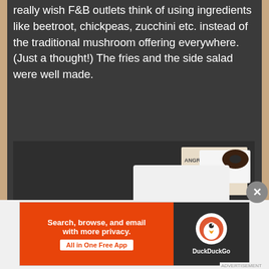really wish F&B outlets think of using ingredients like beetroot, chickpeas, zucchini etc. instead of the traditional mushroom offering everywhere. (Just a thought!) The fries and the side salad were well made.
[Figure (photo): A burger on a sesame seed bun served on a wooden board alongside a white paper cup filled with thick-cut fries. In the background is a white rectangular plate and what appears to be a restaurant newspaper or menu. A fork is visible on the right side.]
[Figure (screenshot): DuckDuckGo advertisement banner. Left side has orange background with text: 'Search, browse, and email with more privacy. All in One Free App'. Right side has dark background with DuckDuckGo duck logo and 'DuckDuckGo' text.]